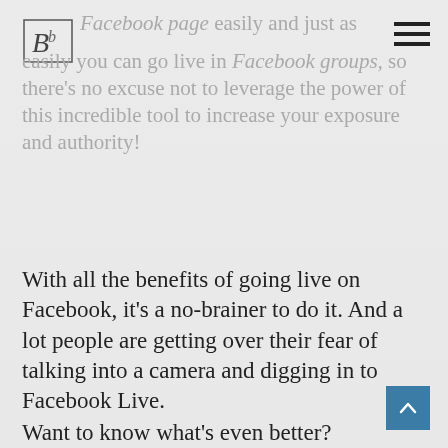[Figure (logo): Stylized cursive letter logo inside a rectangular border]
Facebook page easily and just as easily you can go live in Facebook groups, so there's no excuse not to leverage the power of this incredible tool to increase your exposure and authority!
With all the benefits of going live on Facebook, it's a no-brainer to do it. And a lot people are getting over their fear of talking into a camera and digging in to Facebook Live.
Want to know what's even better?